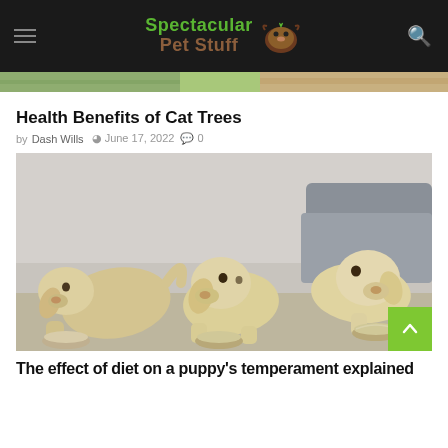Spectacular Pet Stuff
[Figure (photo): Partial view of cat-related image strip at top of page]
Health Benefits of Cat Trees
by Dash Wills  June 17, 2022  0
[Figure (photo): Three yellow Labrador puppies eating from silver metal bowls on the floor]
The effect of diet on a puppy's temperament explained